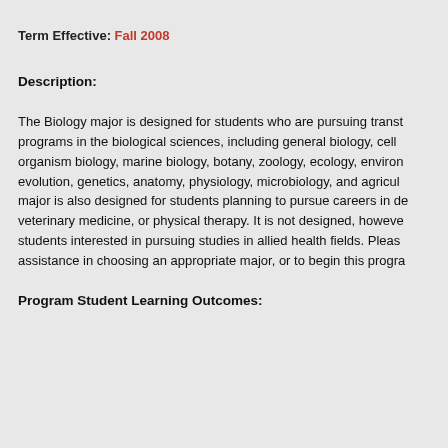Term Effective: Fall 2008
Description:
The Biology major is designed for students who are pursuing transfer programs in the biological sciences, including general biology, cell organism biology, marine biology, botany, zoology, ecology, environmental evolution, genetics, anatomy, physiology, microbiology, and agricultural. major is also designed for students planning to pursue careers in dentistry, veterinary medicine, or physical therapy. It is not designed, however, for students interested in pursuing studies in allied health fields. Please see assistance in choosing an appropriate major, or to begin this program.
Program Student Learning Outcomes: